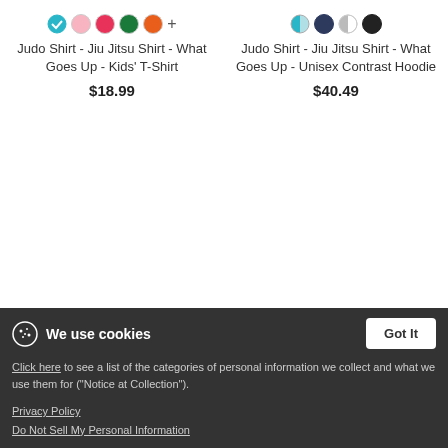[Figure (other): Color swatches row for kids t-shirt: teal/selected, pink, red/pink, green, orange, plus sign]
Judo Shirt - Jiu Jitsu Shirt - What Goes Up - Kids' T-Shirt
$18.99
[Figure (other): Color swatches row for unisex hoodie: teal/half, dark navy, light gray/half, black]
Judo Shirt - Jiu Jitsu Shirt - What Goes Up - Unisex Contrast Hoodie
$40.49
New
We use cookies
Got It
Click here to see a list of the categories of personal information we collect and what we use them for ("Notice at Collection").
Privacy Policy
Do Not Sell My Personal Information
By using this website, I agree to the Terms and Conditions